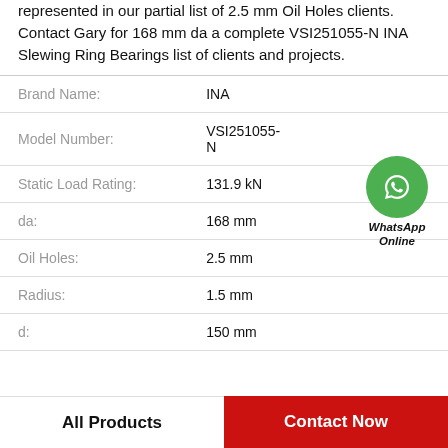represented in our partial list of 2.5 mm Oil Holes clients. Contact Gary for 168 mm da a complete VSI251055-N INA Slewing Ring Bearings list of clients and projects.
| Property | Value |
| --- | --- |
| Brand Name: | INA |
| Model Number: | VSI251055-N |
| Static Load Rating: | 131.9 kN |
| da: | 168 mm |
| Oil Holes: | 2.5 mm |
| Radius: | 1.5 mm |
| d: | 150 mm |
[Figure (logo): WhatsApp Online green phone icon with text 'WhatsApp Online']
All Products
Contact Now